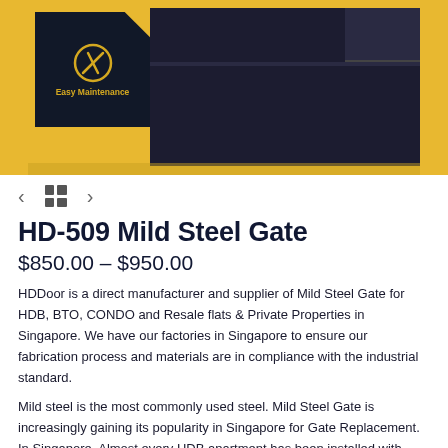[Figure (photo): Product photo of HD-509 Mild Steel Gate with dark navy panel and gold/yellow accent badge showing a wrench/tools icon and text 'Easy Maintenance'. Yellow background frame.]
HD-509 Mild Steel Gate
$850.00 – $950.00
HDDoor is a direct manufacturer and supplier of Mild Steel Gate for HDB, BTO, CONDO and Resale flats & Private Properties in Singapore. We have our factories in Singapore to ensure our fabrication process and materials are in compliance with the industrial standard.
Mild steel is the most commonly used steel. Mild Steel Gate is increasingly gaining its popularity in Singapore for Gate Replacement. In Singapore, Almost every HDB apartment has been installed with either Mild Steel Gate or Wrought Iron Gate. Having a